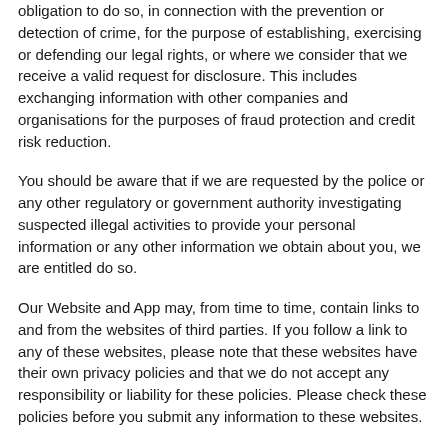obligation to do so, in connection with the prevention or detection of crime, for the purpose of establishing, exercising or defending our legal rights, or where we consider that we receive a valid request for disclosure. This includes exchanging information with other companies and organisations for the purposes of fraud protection and credit risk reduction.
You should be aware that if we are requested by the police or any other regulatory or government authority investigating suspected illegal activities to provide your personal information or any other information we obtain about you, we are entitled do so.
Our Website and App may, from time to time, contain links to and from the websites of third parties. If you follow a link to any of these websites, please note that these websites have their own privacy policies and that we do not accept any responsibility or liability for these policies. Please check these policies before you submit any information to these websites.
Where we store your personal data